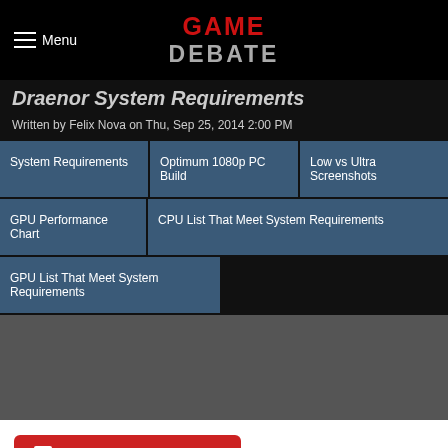Menu | GAME DEBATE
Draenor System Requirements
Written by Felix Nova on Thu, Sep 25, 2014 2:00 PM
System Requirements
Optimum 1080p PC Build
Low vs Ultra Screenshots
GPU Performance Chart
CPU List That Meet System Requirements
GPU List That Meet System Requirements
Jump to comments (33)